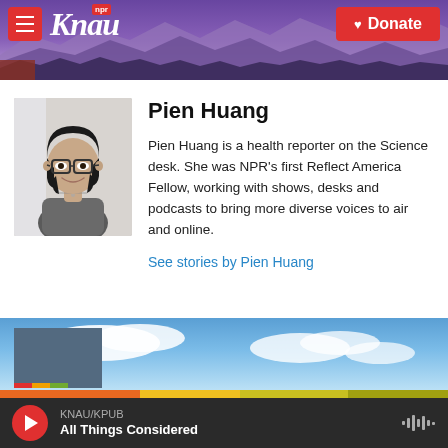[Figure (screenshot): KNAU NPR radio station website header with logo, hamburger menu, mountain landscape background, and red Donate button]
[Figure (photo): Headshot photo of Pien Huang, a woman with glasses and short dark hair, wearing a grey top]
Pien Huang
Pien Huang is a health reporter on the Science desk. She was NPR's first Reflect America Fellow, working with shows, desks and podcasts to bring more diverse voices to air and online.
See stories by Pien Huang
[Figure (screenshot): Partial view of a news article thumbnail with blue sky and clouds]
KNAU/KPUB All Things Considered